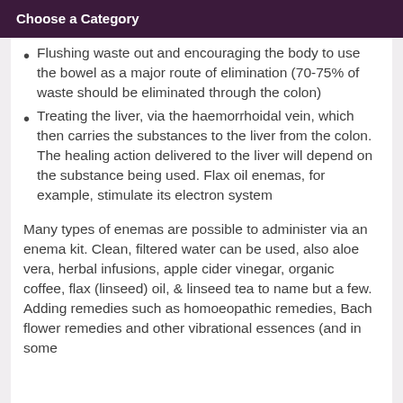Choose a Category
Flushing waste out and encouraging the body to use the bowel as a major route of elimination (70-75% of waste should be eliminated through the colon)
Treating the liver, via the haemorrhoidal vein, which then carries the substances to the liver from the colon. The healing action delivered to the liver will depend on the substance being used. Flax oil enemas, for example, stimulate its electron system
Many types of enemas are possible to administer via an enema kit. Clean, filtered water can be used, also aloe vera, herbal infusions, apple cider vinegar, organic coffee, flax (linseed) oil, & linseed tea to name but a few. Adding remedies such as homoeopathic remedies, Bach flower remedies and other vibrational essences (and in some